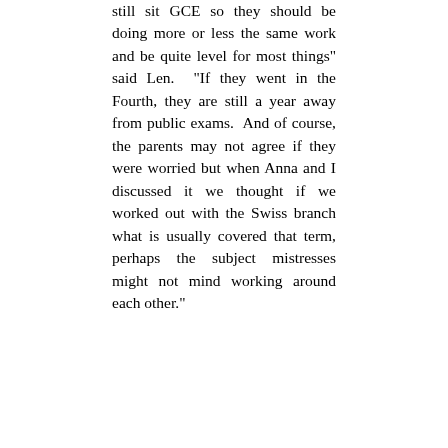still sit GCE so they should be doing more or less the same work and be quite level for most things" said Len.  "If they went in the Fourth, they are still a year away from public exams.  And of course, the parents may not agree if they were worried but when Anna and I discussed it we thought if we worked out with the Swiss branch what is usually covered that term, perhaps the subject mistresses might not mind working around each other."